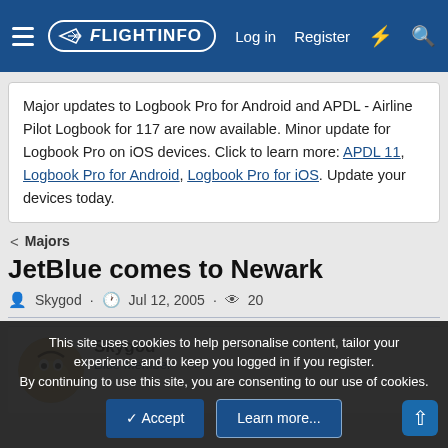FlightInfo — Log in | Register
Major updates to Logbook Pro for Android and APDL - Airline Pilot Logbook for 117 are now available. Minor update for Logbook Pro on iOS devices. Click to learn more: APDL 11, Logbook Pro for Android, Logbook Pro for iOS. Update your devices today.
< Majors
JetBlue comes to Newark
Skygod · Jul 12, 2005 · 20
Skygod
Blue Member
This site uses cookies to help personalise content, tailor your experience and to keep you logged in if you register.
By continuing to use this site, you are consenting to our use of cookies.
Accept | Learn more...